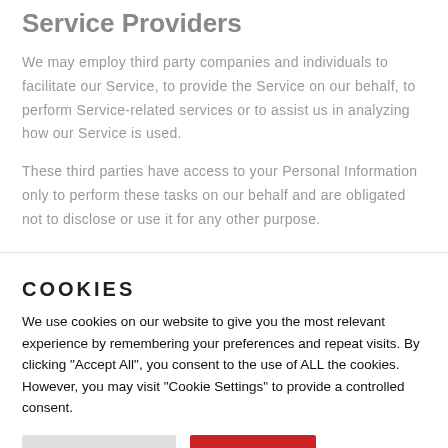Service Providers
We may employ third party companies and individuals to facilitate our Service, to provide the Service on our behalf, to perform Service-related services or to assist us in analyzing how our Service is used.
These third parties have access to your Personal Information only to perform these tasks on our behalf and are obligated not to disclose or use it for any other purpose.
COOKIES
We use cookies on our website to give you the most relevant experience by remembering your preferences and repeat visits. By clicking "Accept All", you consent to the use of ALL the cookies. However, you may visit "Cookie Settings" to provide a controlled consent.
Cookie Settings | Accept All